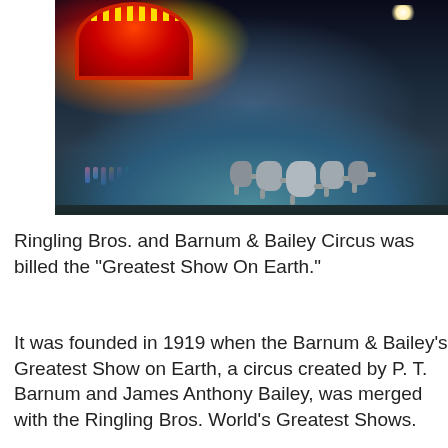[Figure (photo): A circus performance at an indoor arena showing elephants walking on a teal-lit stage floor, colorful performers in the background, a large illuminated archway/entrance with red and yellow lights on the left, and bright stage lighting. The arena is darkened with spectators visible in the background.]
Ringling Bros. and Barnum & Bailey Circus was billed the "Greatest Show On Earth."
It was founded in 1919 when the Barnum & Bailey's Greatest Show on Earth, a circus created by P. T. Barnum and James Anthony Bailey, was merged with the Ringling Bros. World's Greatest Shows.